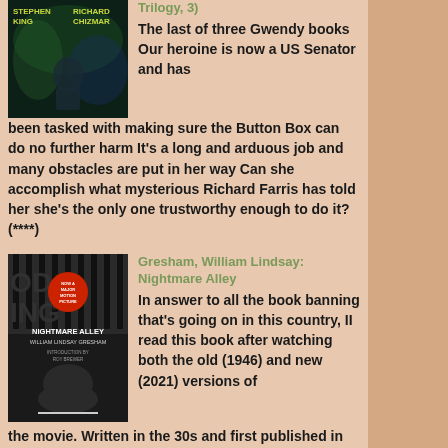(... Trilogy, 3)
The last of three Gwendy books Our heroine is now a US Senator and has been tasked with making sure the Button Box can do no further harm It's a long and arduous job and many obstacles are put in her way Can she accomplish what mysterious Richard Farris has told her she's the only one trustworthy enough to do it? (****)
Gresham, William Lindsay: Nightmare Alley
In answer to all the book banning that's going on in this country, II read this book after watching both the old (1946) and new (2021) versions of the movie. Written in the 30s and first published in 1946, this book has been banned and corrupted into oblivion. The